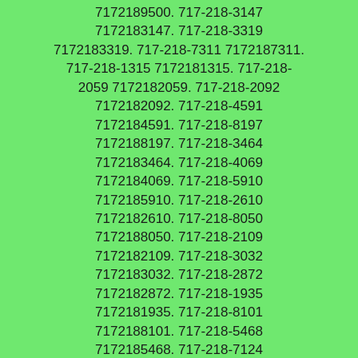7172189500. 717-218-3147 7172183147. 717-218-3319 7172183319. 717-218-7311 7172187311. 717-218-1315 7172181315. 717-218-2059 7172182059. 717-218-2092 7172182092. 717-218-4591 7172184591. 717-218-8197 7172188197. 717-218-3464 7172183464. 717-218-4069 7172184069. 717-218-5910 7172185910. 717-218-2610 7172182610. 717-218-8050 7172188050. 717-218-2109 7172182109. 717-218-3032 7172183032. 717-218-2872 7172182872. 717-218-1935 7172181935. 717-218-8101 7172188101. 717-218-5468 7172185468. 717-218-7124 7172187124. 717-218-3036 7172183036. 717-218-1339 7172181339. 717-218-9037 7172189037. 717-218-9009 7172189009. 717-218-5736 7172185736. 717-218-3925